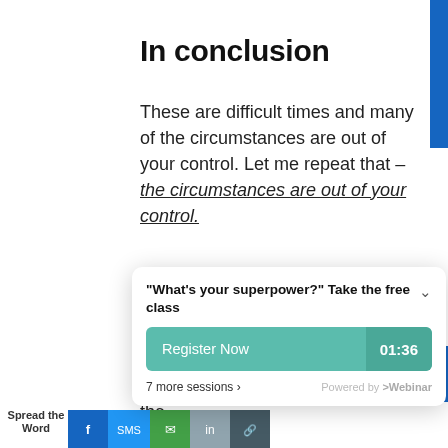In conclusion
These are difficult times and many of the circumstances are out of your control. Let me repeat that – the circumstances are out of your control.
The only thing you can control here is your mi... to the...
[Figure (screenshot): Popup widget: '"What's your superpower?" Take the free class' with Register Now button showing countdown 01:36, '7 more sessions ›', and 'Powered by eWebinar' branding]
Spread the Word